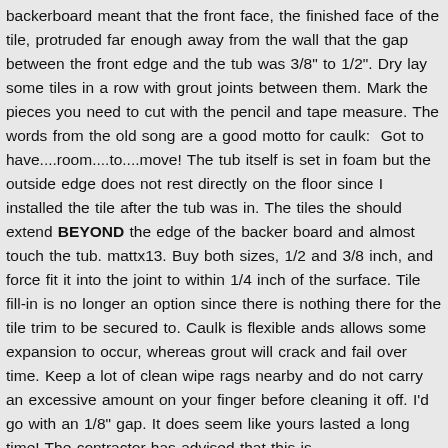backerboard meant that the front face, the finished face of the tile, protruded far enough away from the wall that the gap between the front edge and the tub was 3/8" to 1/2". Dry lay some tiles in a row with grout joints between them. Mark the pieces you need to cut with the pencil and tape measure. The words from the old song are a good motto for caulk:  Got to have....room....to....move! The tub itself is set in foam but the outside edge does not rest directly on the floor since I installed the tile after the tub was in. The tiles the should extend BEYOND the edge of the backer board and almost touch the tub. mattx13. Buy both sizes, 1/2 and 3/8 inch, and force fit it into the joint to within 1/4 inch of the surface. Tile fill-in is no longer an option since there is nothing there for the tile trim to be secured to. Caulk is flexible ands allows some expansion to occur, whereas grout will crack and fail over time. Keep a lot of clean wipe rags nearby and do not carry an excessive amount on your finger before cleaning it off. I'd go with an 1/8" gap. It does seem like yours lasted a long time! The contractor has advised that this is